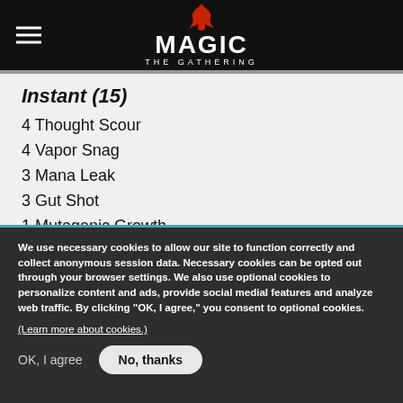Magic: The Gathering
Instant (15)
4 Thought Scour
4 Vapor Snag
3 Mana Leak
3 Gut Shot
1 Mutagenic Growth
Artifact (3)
3 Runechanter's Pike
We use necessary cookies to allow our site to function correctly and collect anonymous session data. Necessary cookies can be opted out through your browser settings. We also use optional cookies to personalize content and ads, provide social medial features and analyze web traffic. By clicking “OK, I agree,” you consent to optional cookies.
(Learn more about cookies.)